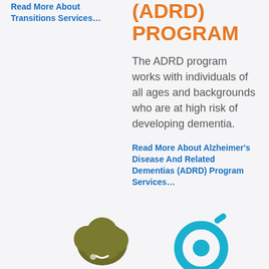Read More About Transitions Services…
(ADRD) PROGRAM
The ADRD program works with individuals of all ages and backgrounds who are at high risk of developing dementia.
Read More About Alzheimer's Disease And Related Dementias (ADRD) Program Services…
[Figure (illustration): Olive/dark green cloud-shaped brain icon at bottom left]
[Figure (illustration): Blue circular arrow target icon with a small pill/capsule accent at bottom right]